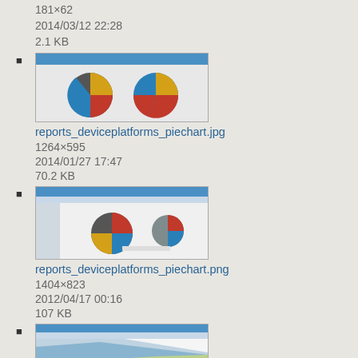181×62
2014/03/12 22:28
2.1 KB
[Figure (screenshot): Thumbnail of reports_deviceplatforms_piechart.jpg showing two pie charts]
reports_deviceplatforms_piechart.jpg
1264×595
2014/01/27 17:47
70.2 KB
[Figure (screenshot): Thumbnail of reports_deviceplatforms_piechart.png showing pie charts in application window]
reports_deviceplatforms_piechart.png
1404×823
2012/04/17 00:16
107 KB
[Figure (screenshot): Thumbnail of reports_home.png showing area charts]
reports_home.png
1640×812
2013/08/26 18:04